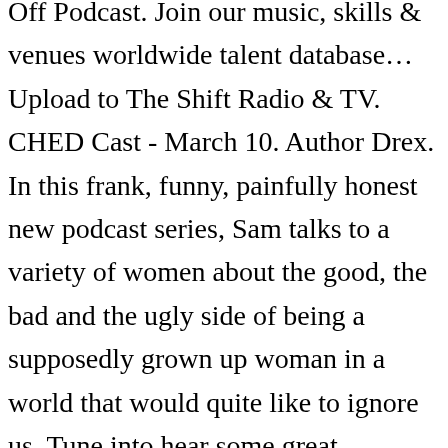Off Podcast. Join our music, skills & venues worldwide talent database… Upload to The Shift Radio & TV. CHED Cast - March 10. Author Drex. In this frank, funny, painfully honest new podcast series, Sam talks to a variety of women about the good, the bad and the ugly side of being a supposedly grown up woman in a world that would quite like to ignore us. Tune into hear some great independent music on The Shift Radio Station… The Shift Television. Host Shane Hewitt looks at the news of the day under a new light,